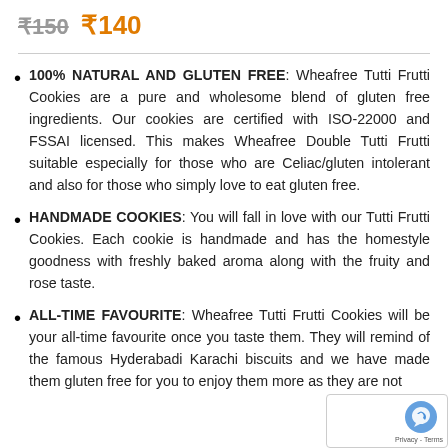₹150  ₹140
100% NATURAL AND GLUTEN FREE: Wheafree Tutti Frutti Cookies are a pure and wholesome blend of gluten free ingredients. Our cookies are certified with ISO-22000 and FSSAI licensed. This makes Wheafree Double Tutti Frutti suitable especially for those who are Celiac/gluten intolerant and also for those who simply love to eat gluten free.
HANDMADE COOKIES: You will fall in love with our Tutti Frutti Cookies. Each cookie is handmade and has the homestyle goodness with freshly baked aroma along with the fruity and rose taste.
ALL-TIME FAVOURITE: Wheafree Tutti Frutti Cookies will be your all-time favourite once you taste them. They will remind of the famous Hyderabadi Karachi biscuits and we have made them gluten free for you to enjoy them more as they are not